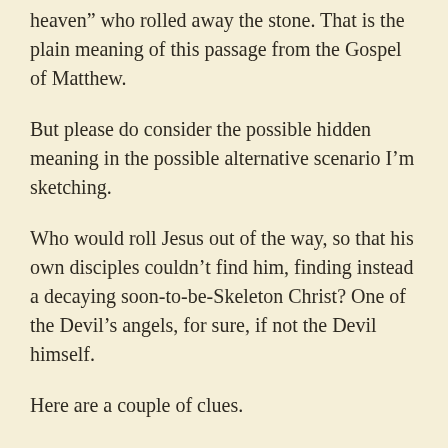heaven” who rolled away the stone. That is the plain meaning of this passage from the Gospel of Matthew.
But please do consider the possible hidden meaning in the possible alternative scenario I’m sketching.
Who would roll Jesus out of the way, so that his own disciples couldn’t find him, finding instead a decaying soon-to-be-Skeleton Christ? One of the Devil’s angels, for sure, if not the Devil himself.
Here are a couple of clues.
[Jesus] replied, “I saw Satan fall like lightning from heaven.” (NIV)